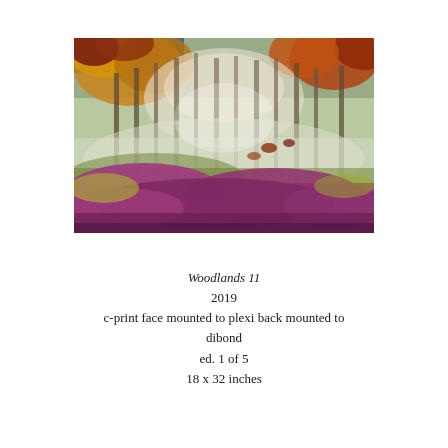[Figure (photo): A colorful artistic photograph of a woodland scene with tall trees, golden autumn foliage at the top, and vivid purple/magenta undergrowth at the bottom, with a misty, layered appearance.]
Woodlands 11
2019
c-print face mounted to plexi back mounted to dibond
ed. 1 of 5
18 x 32 inches